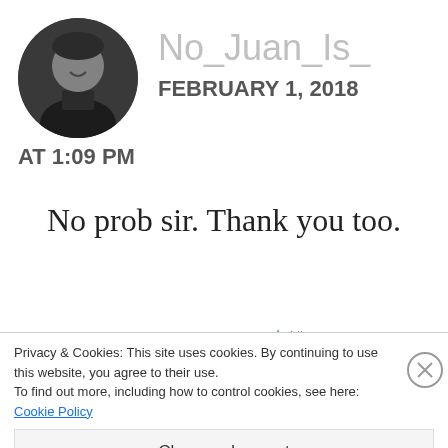[Figure (photo): Circular black and white profile photo of a person smiling, standing indoors.]
No_Juan_Is_
FEBRUARY 1, 2018
AT 1:09 PM
No prob sir. Thank you too.
Privacy & Cookies: This site uses cookies. By continuing to use this website, you agree to their use.
To find out more, including how to control cookies, see here: Cookie Policy
Close and accept
5-star reviews
DAY ONE
JOURNAL